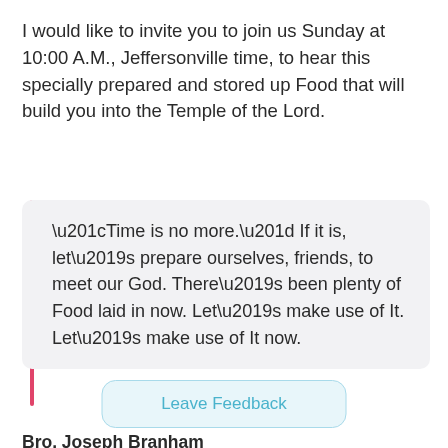I would like to invite you to join us Sunday at 10:00 A.M., Jeffersonville time, to hear this specially prepared and stored up Food that will build you into the Temple of the Lord.
“Time is no more.” If it is, let’s prepare ourselves, friends, to meet our God. There’s been plenty of Food laid in now. Let’s make use of It. Let’s make use of It now.
Bro. Joseph Branham
Leave Feedback